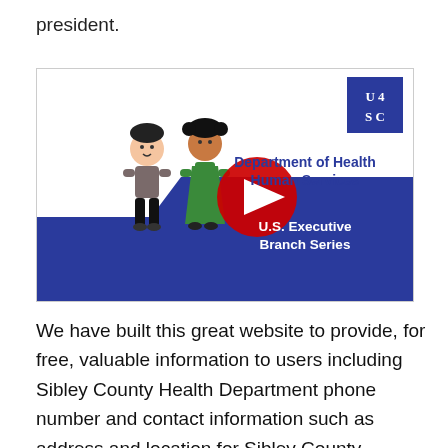president.
[Figure (screenshot): YouTube video thumbnail showing two cartoon children figures (a boy and a girl), a red YouTube play button, and overlay text reading 'Department of Health Human Services U.S. Executive Branch Series'. A blue U4SC logo box is in the top right corner. The bottom portion has a blue wave background.]
We have built this great website to provide, for free, valuable information to users including Sibley County Health Department phone number and contact information such as address and location for Sibley County